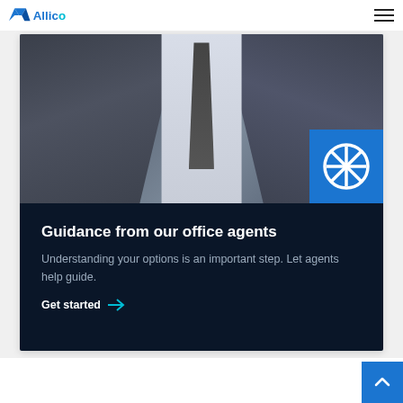Alico
[Figure (photo): Business person in dark suit standing in an office, cropped at torso level, with a blue box containing a white Allianz-style snowflake/asterisk icon overlay in the bottom right corner of the photo]
Guidance from our office agents
Understanding your options is an important step. Let agents help guide.
Get started →